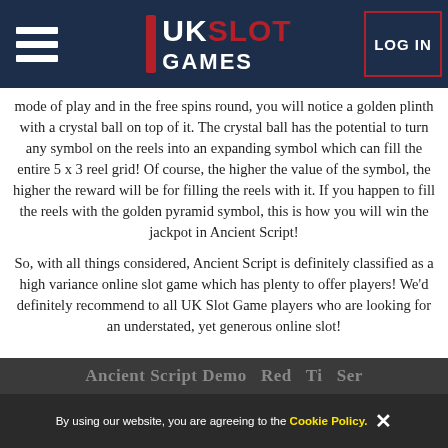UK SLOT GAMES — LOG IN
mode of play and in the free spins round, you will notice a golden plinth with a crystal ball on top of it. The crystal ball has the potential to turn any symbol on the reels into an expanding symbol which can fill the entire 5 x 3 reel grid! Of course, the higher the value of the symbol, the higher the reward will be for filling the reels with it. If you happen to fill the reels with the golden pyramid symbol, this is how you will win the jackpot in Ancient Script!
So, with all things considered, Ancient Script is definitely classified as a high variance online slot game which has plenty to offer players! We'd definitely recommend to all UK Slot Game players who are looking for an understated, yet generous online slot!
By using our website, you are agreeing to the Cookie Policy.